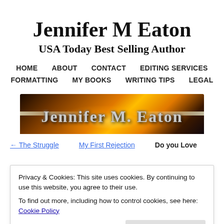Jennifer M Eaton
USA Today Best Selling Author
HOME   ABOUT   CONTACT   EDITING SERVICES   FORMATTING   MY BOOKS   WRITING TIPS   LEGAL
[Figure (illustration): Dark space/sunset banner image with text 'Jennifer M. Eaton' in metallic serif font, glowing light in background]
← The Struggle   My First Rejection   Do you Love
Privacy & Cookies: This site uses cookies. By continuing to use this website, you agree to their use.
To find out more, including how to control cookies, see here: Cookie Policy
Close and accept